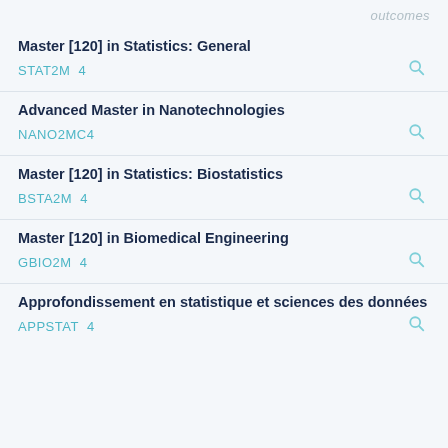outcomes
Master [120] in Statistics: General
STAT2M   4
Advanced Master in Nanotechnologies
NANO2MC4
Master [120] in Statistics: Biostatistics
BSTA2M   4
Master [120] in Biomedical Engineering
GBIO2M   4
Approfondissement en statistique et sciences des données
APPSTAT   4